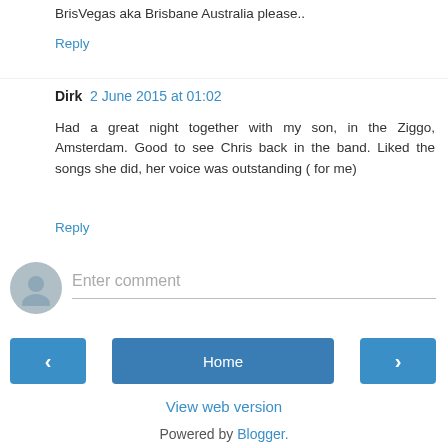BrisVegas aka Brisbane Australia please..
Reply
Dirk  2 June 2015 at 01:02
Had a great night together with my son, in the Ziggo, Amsterdam. Good to see Chris back in the band. Liked the songs she did, her voice was outstanding ( for me)
Reply
Enter comment
Home
View web version
Powered by Blogger.